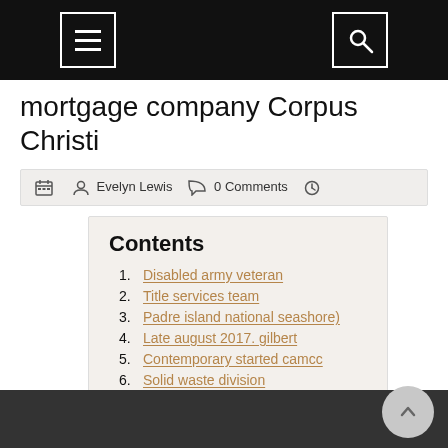mortgage company Corpus Christi
Evelyn Lewis  0 Comments
Contents
1. Disabled army veteran
2. Title services team
3. Padre island national seashore)
4. Late august 2017. gilbert
5. Contemporary started camcc
6. Solid waste division